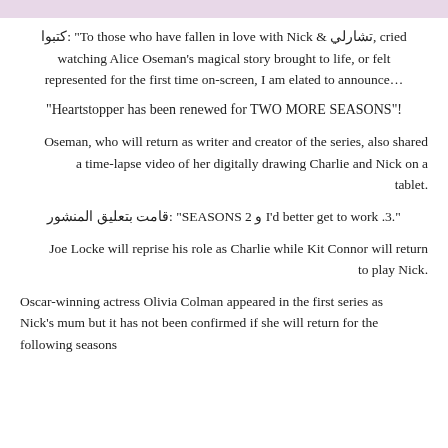كتبوا: "To those who have fallen in love with Nick & تشارلي, cried watching Alice Oseman's magical story brought to life, or felt …represented for the first time on-screen, I am elated to announce
"Heartstopper has been renewed for TWO MORE SEASONS"!
Oseman, who will return as writer and creator of the series, also shared a time-lapse video of her digitally drawing Charlie and Nick on a tablet.
قامت بتعليق المنشور: "2 SEASONS و 3. I'd better get to work".
Joe Locke will reprise his role as Charlie while Kit Connor will return to play Nick.
Oscar-winning actress Olivia Colman appeared in the first series as Nick's mum but it has not been confirmed if she will return for the following seasons